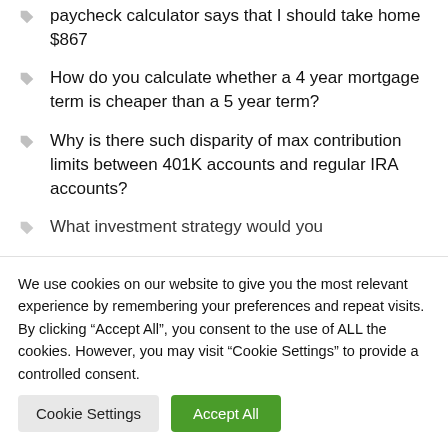I got a raise from $9,100 to $9,900, and paycheck calculator says that I should take home $867
How do you calculate whether a 4 year mortgage term is cheaper than a 5 year term?
Why is there such disparity of max contribution limits between 401K accounts and regular IRA accounts?
What investment strategy would you...
We use cookies on our website to give you the most relevant experience by remembering your preferences and repeat visits. By clicking "Accept All", you consent to the use of ALL the cookies. However, you may visit "Cookie Settings" to provide a controlled consent.